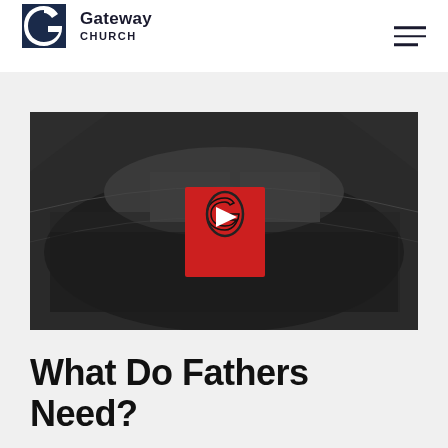Gateway Church
[Figure (screenshot): Video thumbnail showing a darkened aerial photo of a large church auditorium filled with people. In the center is a red rectangle with the Gateway Church logo (stylized G) and a white play button triangle overlay.]
What Do Fathers Need?